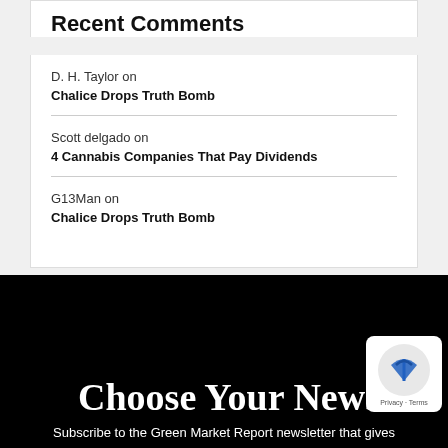Recent Comments
D. H. Taylor on
Chalice Drops Truth Bomb
Scott delgado on
4 Cannabis Companies That Pay Dividends
G13Man on
Chalice Drops Truth Bomb
Choose Your News
Subscribe to the Green Market Report newsletter that gives